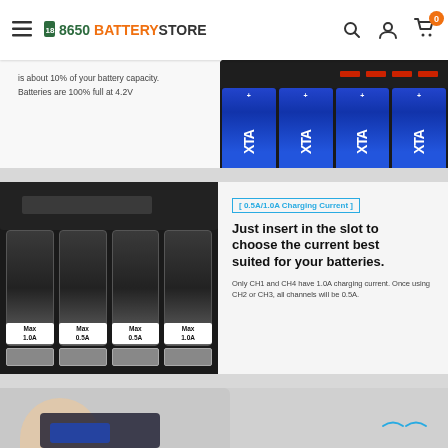18650 BATTERY STORE
[Figure (photo): Partial view: text about battery capacity at 10%, 100% full at 4.2V, and photo of XTA battery charger with 4 blue XTA batteries inserted]
[Figure (photo): Battery charger with 4 slots labeled Max 1.0A, Max 0.5A, Max 0.5A, Max 1.0A. Text: 0.5A/1.0A Charging Current. Just insert in the slot to choose the current best suited for your batteries. Only CH1 and CH4 have 1.0A charging current. Once using CH2 or CH3, all channels will be 0.5A.]
[Figure (photo): Partial bottom image showing hands/device, partially visible]